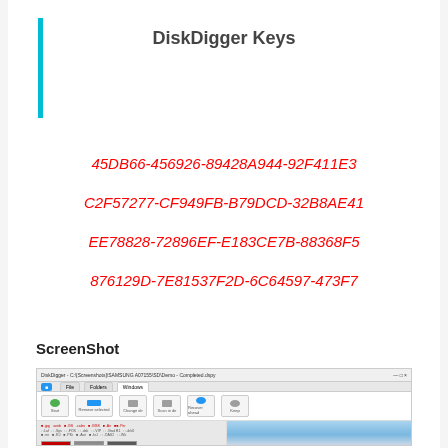DiskDigger Keys
45DB66-456926-89428A944-92F411E3
C2F57277-CF949FB-B79DCD-32B8AE41
EE78828-72896EF-E183CE7B-88368F5
876129D-7E81537F2D-6C64597-473F7
ScreenShot
[Figure (screenshot): Screenshot of DiskDigger application window showing toolbar with Start button, file thumbnails of images in lower left panel, and a sky/clouds photo in the right panel.]